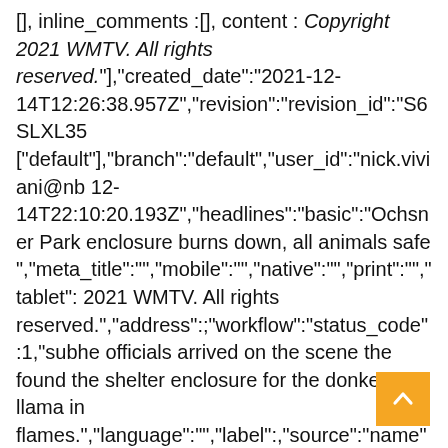[], inline_comments :[], content : Copyright 2021 WMTV. All rights reserved."],"created_date":"2021-12-14T12:26:38.957Z","revision":"revision_id":"S6SLXL35 ["default"],"branch":"default","user_id":"nick.viviani@nb 12-14T22:10:20.193Z","headlines":"basic":"Ochsner Park enclosure burns down, all animals safe ","meta_title":"","mobile":"","native":"","print":"","tablet": 2021 WMTV. All rights reserved.","address":;"workflow":"status_code":1,"subhe officials arrived on the scene the found the shelter enclosure for the donkey and llama in flames.","language":"","label":,"source":"name":"Gray TV Stations","source_type":"gray-original-content","system":"composer","taxonomy": {"primary_section":